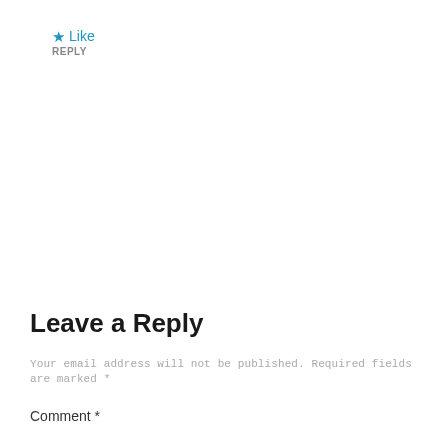★ Like
REPLY
Leave a Reply
Your email address will not be published. Required fields are marked *
Comment *